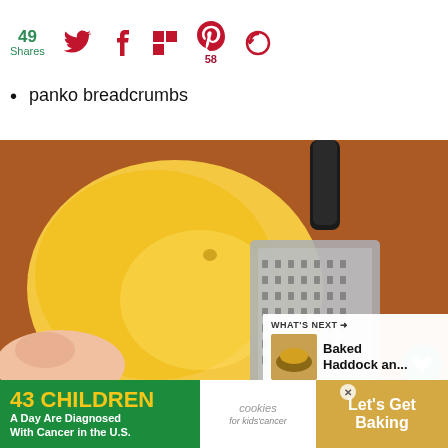49 Shares — social share icons (Twitter, Facebook, Flipboard, Pinterest 58, other)
panko breadcrumbs
[Figure (photo): A hand holding a lemon being zested on a metal box grater on a wooden surface. A black-handled zester is also visible. Overlay icons: heart and share buttons. 'WHAT'S NEXT' panel showing Baked Haddock an...]
[Figure (infographic): Advertisement banner: '43 CHILDREN A Day Are Diagnosed With Cancer in the U.S.' with cookies for kids cancer logo and 'Let's Get Baking' call to action]